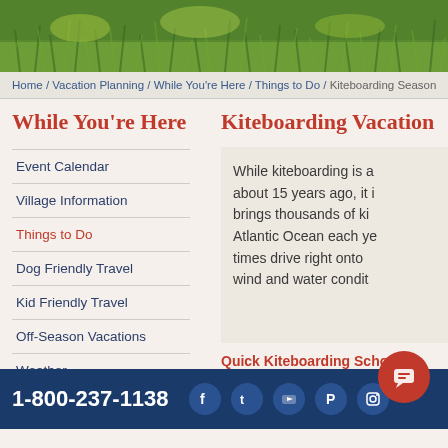[Figure (photo): Hero banner image showing green vegetation/marsh landscape]
Home / Vacation Planning / While You're Here / Things to Do / Kiteboarding Season
While You're Here
Kiteboarding Vacation
Event Calendar
Village Information
Things to Do
Dog Friendly Travel
Kid Friendly Travel
Off-Season Vacations
Weather
Check-out Information
While kiteboarding is about 15 years ago, it brings thousands of ki Atlantic Ocean each ye times drive right onto wind and water condit
Quick Kiteboarding School C
1-800-237-1138